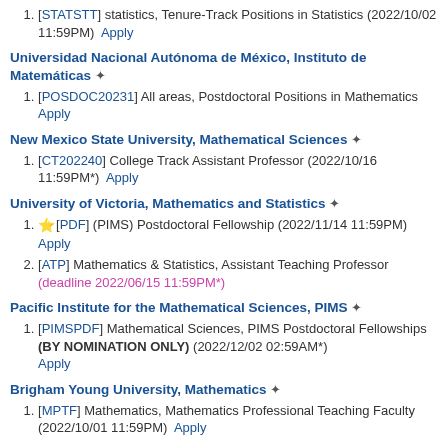1. [STATSTT] statistics, Tenure-Track Positions in Statistics (2022/10/02 11:59PM)  Apply
Universidad Nacional Autónoma de México, Instituto de Matemáticas #
1. [POSDOC20231] All areas, Postdoctoral Positions in Mathematics  Apply
New Mexico State University, Mathematical Sciences #
1. [CT202240] College Track Assistant Professor (2022/10/16 11:59PM*)  Apply
University of Victoria, Mathematics and Statistics #
1. ★[PDF] (PIMS) Postdoctoral Fellowship (2022/11/14 11:59PM)  Apply
2. [ATP] Mathematics & Statistics, Assistant Teaching Professor (deadline 2022/06/15 11:59PM*)
Pacific Institute for the Mathematical Sciences, PIMS #
1. [PIMSPDF] Mathematical Sciences, PIMS Postdoctoral Fellowships (BY NOMINATION ONLY) (2022/12/02 02:59AM*)  Apply
Brigham Young University, Mathematics #
1. [MPTF] Mathematics, Mathematics Professional Teaching Faculty (2022/10/01 11:59PM)  Apply